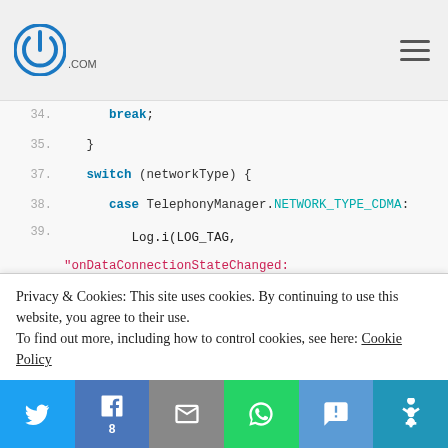[Figure (screenshot): Website header with logo (circular icon with power symbol and .COM text) and hamburger menu on the right]
Code snippet showing Android Java switch/case block with TelephonyManager network type constants (lines 34-48): break; }, switch (networkType) {, case TelephonyManager.NETWORK_TYPE_CDMA:, Log.i(LOG_TAG, "onDataConnectionStateChanged: NETWORK_TYPE_CDMA"); break; case TelephonyManager.NETWORK_TYPE_EDGE:, Log.i(LOG_TAG, "onDataConnectionStateChanged: NETWORK_TYPE_EDGE"); break; case TelephonyManager.NETWORK_TYPE_EVDO_0:, Log.i(LOG_TAG, "onDataConnectionStateChanged: NETWORK_TYPE_EVDO_0"); break; case TelephonyManager.NETWORK_TYPE_GPRS:, Log.i(LOG_TAG, "onDataConnectionStateChanged: NETWORK_TYPE_GPRS");
Privacy & Cookies: This site uses cookies. By continuing to use this website, you agree to their use. To find out more, including how to control cookies, see here: Cookie Policy
[Figure (screenshot): Social sharing bar with Twitter, Facebook (8 shares), Email, WhatsApp, SMS, and More buttons]